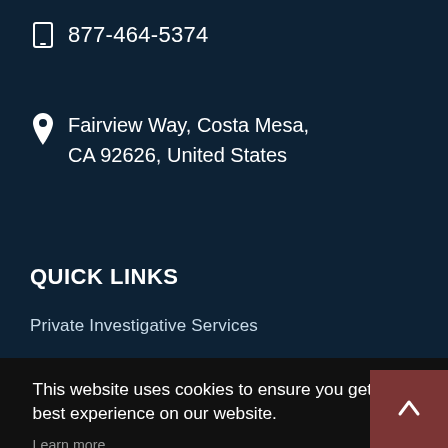877-464-5374
Fairview Way, Costa Mesa, CA 92626, United States
QUICK LINKS
Private Investigative Services
This website uses cookies to ensure you get the best experience on our website.
Learn more
Got it!
If you would like a free consultation just give us a call,